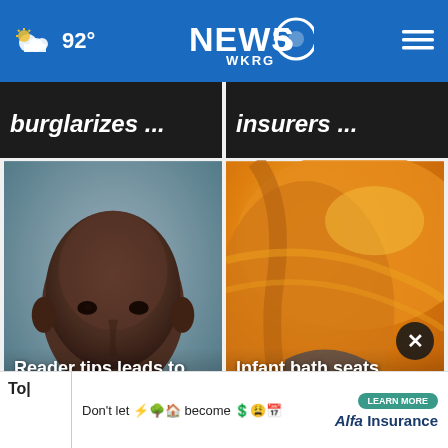92° NEWS 5 WKRG
burglarizes ...
insurers ...
[Figure (photo): Mugshot photo of a bald Black man on blue-grey background]
Reader tips leads to fugitive arrest: US Marshals
[Figure (photo): Close-up of orange infant bath seat]
Infant bath seats recalled over drowning hazard
To| Don't let ⚡🌳🏠 become $😩📅 become — LEARN MORE Alfa Insurance